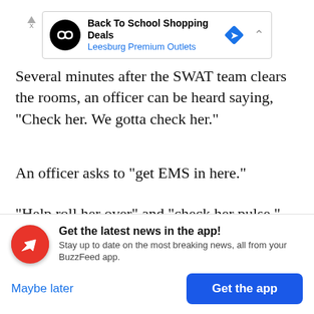[Figure (screenshot): Advertisement banner for Back To School Shopping Deals at Leesburg Premium Outlets with navigation icon]
Several minutes after the SWAT team clears the rooms, an officer can be heard saying, "Check her. We gotta check her."
An officer asks to "get EMS in here."
"Help roll her over" and "check her pulse," officers are heard saying in the video.
Get the latest news in the app! Stay up to date on the most breaking news, all from your BuzzFeed app.
Maybe later
Get the app